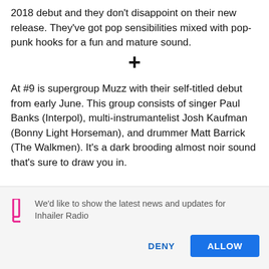2018 debut and they don't disappoint on their new release. They've got pop sensibilities mixed with pop-punk hooks for a fun and mature sound.
At #9 is supergroup Muzz with their self-titled debut from early June. This group consists of singer Paul Banks (Interpol), multi-instrumantelist Josh Kaufman (Bonny Light Horseman), and drummer Matt Barrick (The Walkmen). It's a dark brooding almost noir sound that's sure to draw you in.
We'd like to show the latest news and updates for Inhailer Radio
DENY
ALLOW